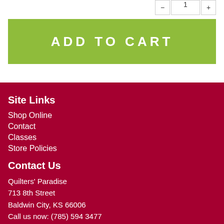[Figure (screenshot): Add to Cart button — green/olive colored button with white bold uppercase spaced text 'ADD TO CART']
Site Links
Shop Online
Contact
Classes
Store Policies
Contact Us
Quilters' Paradise
713 8th Street
Baldwin City, KS 66006
Call us now: (785) 594 3477